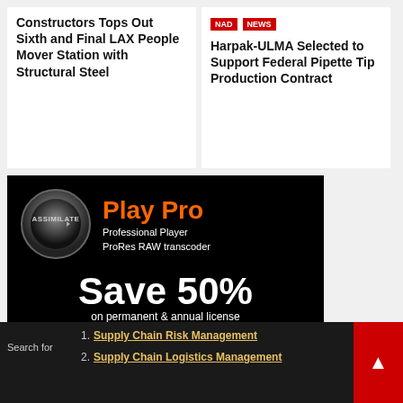Constructors Tops Out Sixth and Final LAX People Mover Station with Structural Steel
Harpak-ULMA Selected to Support Federal Pipette Tip Production Contract
[Figure (advertisement): Assimilate Play Pro advertisement. Black background with circular logo on left, 'Play Pro' in orange bold text. 'Professional Player ProRes RAW transcoder' in white. 'Save 50%' in large white bold text. 'on permanent & annual license'. 'Coupon Code: prr50off']
Supply Chain Risk Management
Supply Chain Logistics Management